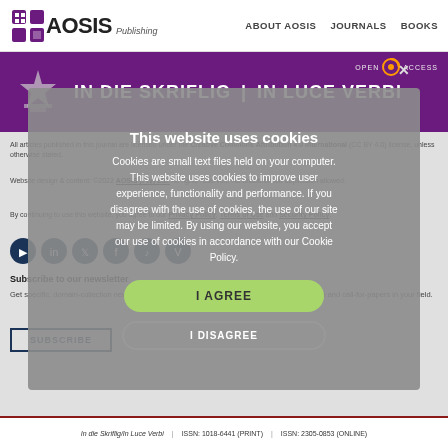ABOUT AOSIS   JOURNALS   BOOKS
IN DIE SKRIFLIG | IN LUCE VERBI
This website uses cookies
Cookies are small text files held on your computer. This website uses cookies to improve user experience, functionality and performance. If you disagree with the use of cookies, the use of our site may be limited. By using our website, you accept our use of cookies in accordance with our Cookie Policy.
All articles published in this journal are licensed under the Creative Commons Attribution 4.0 International (CC BY 4.0) license, unless otherwise stated.
Website design & content: ©2022 AOSIS (Pty) Ltd. All rights reserved. No unauthorised duplication allowed.
By continuing to use this website, you agree to our Privacy Policy, Terms of Use and Security Policy.
Subscribe to our newsletter
Get specific, domain-collection newsletters detailing the latest CPD courses, scholarly research and call-for-papers in your field.
In die Skriflig/In Luce Verbi   |   ISSN: 1018-6441 (PRINT)   |   ISSN: 2305-0853 (ONLINE)